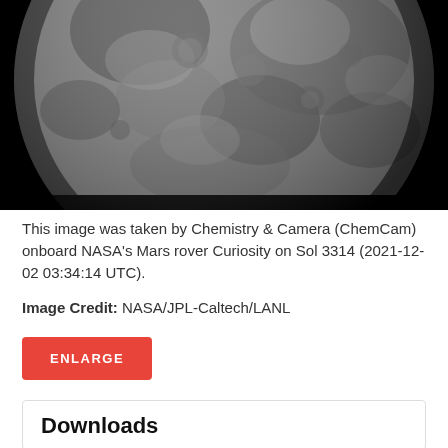[Figure (photo): Black and white close-up photograph of a rocky celestial body surface (Mars moon or asteroid), showing cratered and textured terrain, circular body against black background. Taken by ChemCam onboard NASA's Mars rover Curiosity.]
This image was taken by Chemistry & Camera (ChemCam) onboard NASA's Mars rover Curiosity on Sol 3314 (2021-12-02 03:34:14 UTC).
Image Credit: NASA/JPL-Caltech/LANL
ENLARGE
Downloads